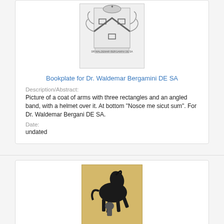[Figure (illustration): Coat of arms with three rectangles and an angled band, with a helmet over it. Text at bottom reads 'Nosce me sicut sum'.]
Bookplate for Dr. Waldemar Bergamini DE SA
Description/Abstract:
Picture of a coat of arms with three rectangles and an angled band, with a helmet over it. At bottom "Nosce me sicut sum". For Dr. Waldemar Bergani DE SA.
Date:
undated
[Figure (illustration): Black and dark colored illustration of a horse rearing up with a figure beneath it, on a tan/beige background.]